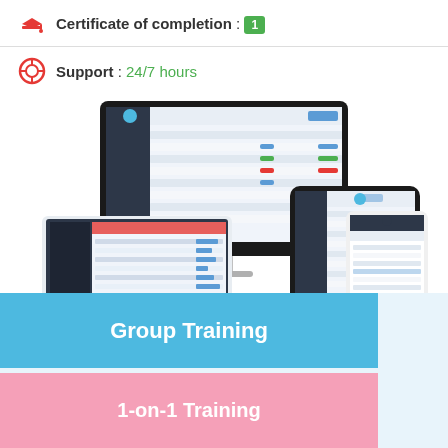Certificate of completion : 1
Support : 24/7 hours
[Figure (screenshot): Multiple devices (desktop monitor, laptop, tablet, smartphone) displaying a software dashboard/admin interface with a dark sidebar and data table]
Group Training
1-on-1 Training